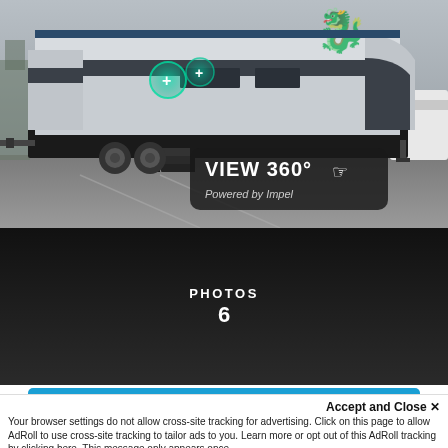[Figure (photo): Travel trailer RV parked in a lot, with a VIEW 360° / Powered by Impel overlay button and green hotspot circles on the RV image]
[Figure (screenshot): Dark photo strip showing PHOTOS label and number 6]
Call Now
Accept and Close ✕
Your browser settings do not allow cross-site tracking for advertising. Click on this page to allow AdRoll to use cross-site tracking to tailor ads to you. Learn more or opt out of this AdRoll tracking by clicking here. This message only appears once.